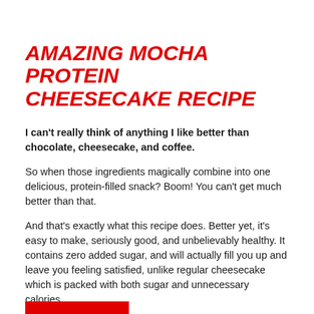AMAZING MOCHA PROTEIN CHEESECAKE RECIPE
I can't really think of anything I like better than chocolate, cheesecake, and coffee.
So when those ingredients magically combine into one delicious, protein-filled snack? Boom! You can't get much better than that.
And that's exactly what this recipe does. Better yet, it's easy to make, seriously good, and unbelievably healthy. It contains zero added sugar, and will actually fill you up and leave you feeling satisfied, unlike regular cheesecake which is packed with both sugar and unnecessary calories.